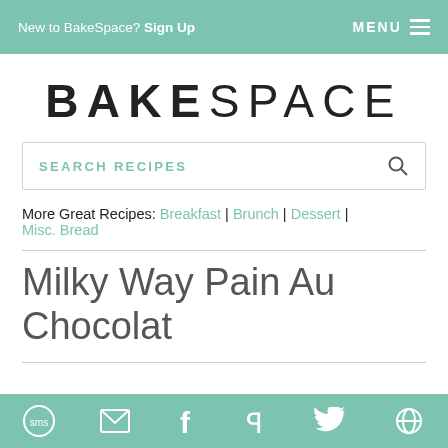New to BakeSpace? Sign Up   MENU
BAKESPACE
SEARCH RECIPES
More Great Recipes: Breakfast | Brunch | Dessert | Misc. Bread
Milky Way Pain Au Chocolat
sms email facebook pinterest twitter other